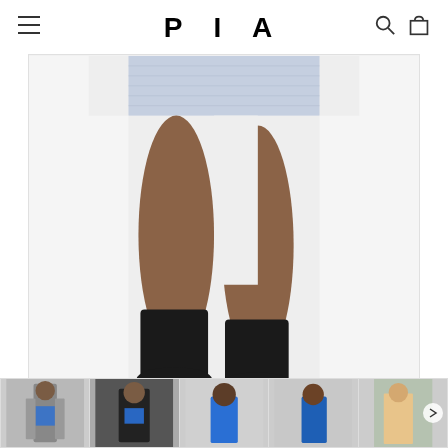PIA
[Figure (photo): Fashion e-commerce product page screenshot showing PIA brand logo header with hamburger menu, search icon, and cart icon. Main product image shows lower half of a model wearing a light grey/blue textured mini skirt and black ankle boots against a white background. Below are five thumbnail images of different product views showing a woman wearing blue and grey clothing.]